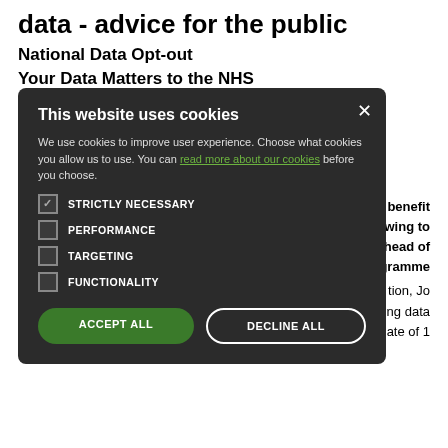data - advice for the public
National Data Opt-out
Your Data Matters to the NHS
The collection of GP Data for Planning and Research will now t... 1 July 2021.
[Figure (screenshot): Cookie consent modal dialog on a dark background with title 'This website uses cookies', body text about cookies and a link to read more, four cookie options (Strictly Necessary checked, Performance, Targeting, Functionality unchecked), and two buttons: Accept All and Decline All.]
... will benefit f... ances owing to t... ace ahead of t... programme d... tion, Jo C... ncing data d... ixed date of 1 September